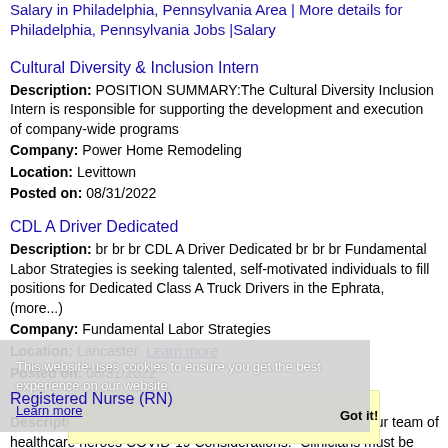Salary in Philadelphia, Pennsylvania Area | More details for Philadelphia, Pennsylvania Jobs |Salary
Cultural Diversity & Inclusion Intern
Description: POSITION SUMMARY:The Cultural Diversity Inclusion Intern is responsible for supporting the development and execution of company-wide programs
Company: Power Home Remodeling
Location: Levittown
Posted on: 08/31/2022
CDL A Driver Dedicated
Description: br br br CDL A Driver Dedicated br br br Fundamental Labor Strategies is seeking talented, self-motivated individuals to fill positions for Dedicated Class A Truck Drivers in the Ephrata, (more...)
Company: Fundamental Labor Strategies
Location: Lancaster
Posted on: 08/31/2022
Registered Nurse (RN)
Description: Ready to take control of your schedule Join our team of healthcare heroes COVID-19 Considerations: -Clinicians must be vaccinated against Covid-19. Why IntelyCare At IntelyCare, we're